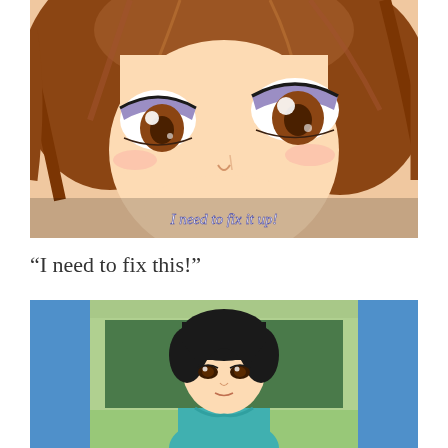[Figure (illustration): Anime screenshot close-up of a brown-haired girl with large brown eyes looking upward. Subtitle text reads: 'I need to fix it up!']
“I need to fix this!”
[Figure (illustration): Anime screenshot of a black-haired boy standing in a doorway between blue door frames against a green background (classroom/hallway setting), looking forward with a neutral expression.]